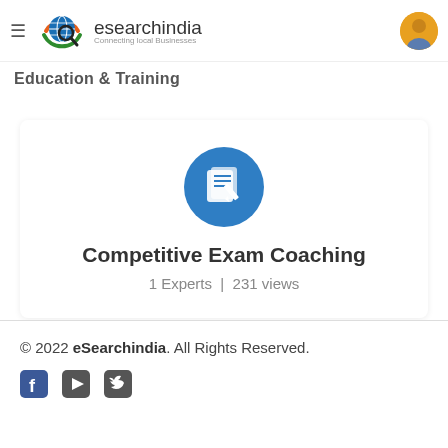esearchindia - Connecting local Businesses
Education & Training
[Figure (logo): Blue circle icon with a document/paper and pen/pencil illustration representing competitive exam coaching]
Competitive Exam Coaching
1 Experts | 231 views
© 2022 eSearchindia. All Rights Reserved.